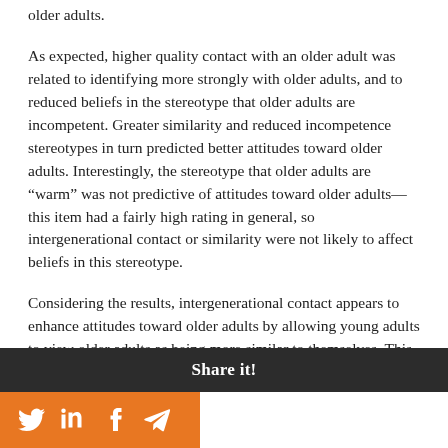older adults.
As expected, higher quality contact with an older adult was related to identifying more strongly with older adults, and to reduced beliefs in the stereotype that older adults are incompetent. Greater similarity and reduced incompetence stereotypes in turn predicted better attitudes toward older adults. Interestingly, the stereotype that older adults are “warm” was not predictive of attitudes toward older adults—this item had a fairly high rating in general, so intergenerational contact or similarity were not likely to affect beliefs in this stereotype.
Considering the results, intergenerational contact appears to enhance attitudes toward older adults by allowing young adults to view older adults as being more similar to themselves. This relationship also works to reduce negative aging stereotypes, such as incompetence. The researchers suggest that programs meant to reduce ageism through
Share it!
[Figure (infographic): Orange social sharing bar with Twitter, LinkedIn, Facebook, and Telegram icons]